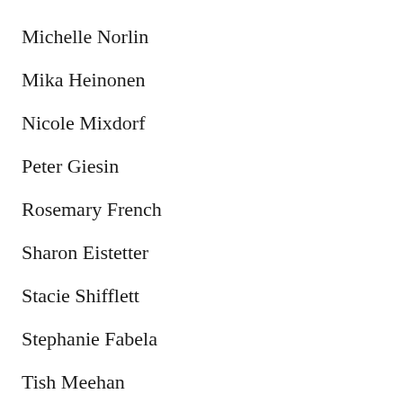Michelle Norlin
Mika Heinonen
Nicole Mixdorf
Peter Giesin
Rosemary French
Sharon Eistetter
Stacie Shifflett
Stephanie Fabela
Tish Meehan